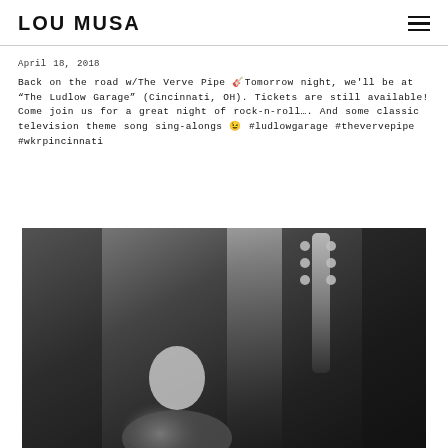LOU MUSA
April 18, 2018
Back on the road w/The Verve Pipe 🎸Tomorrow night, we'll be at "The Ludlow Garage" (Cincinnati, OH). Tickets are still available! Come join us for a great night of rock-n-roll…. And some classic television theme song sing-alongs 😊 #ludlowgarage #thevervepipe #wkrpincinnati
[Figure (photo): Black and white concert photo of a performer smiling and holding up a guitar, with stage lighting in the background.]